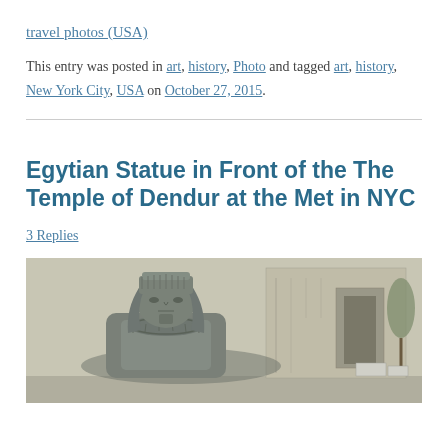travel photos (USA)
This entry was posted in art, history, Photo and tagged art, history, New York City, USA on October 27, 2015.
Egytian Statue in Front of the The Temple of Dendur at the Met in NYC
3 Replies
[Figure (photo): Egyptian statue (sphinx-like) in front of the Temple of Dendur at the Metropolitan Museum of Art in New York City. Stone statue with pharaoh headdress in foreground, ancient stone temple structure in background.]